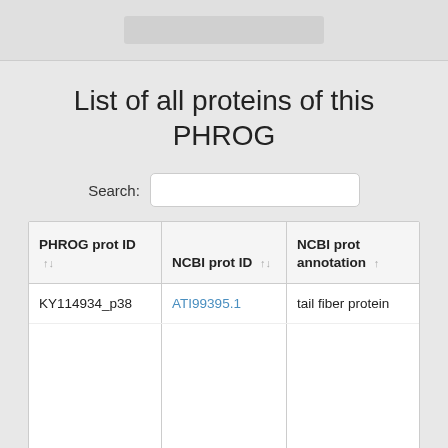List of all proteins of this PHROG
| PHROG prot ID | NCBI prot ID | NCBI prot annotation |
| --- | --- | --- |
| KY114934_p38 | ATI99395.1 | tail fiber protein |